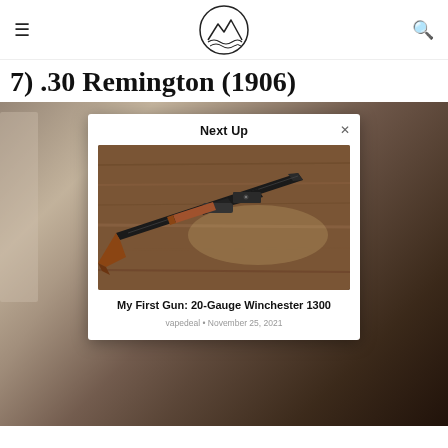≡  [logo]  🔍
7) .30 Remington (1906)
[Figure (screenshot): Website screenshot showing a 'Next Up' modal card overlay on top of a background image. The modal contains a photo of a shotgun (Winchester 1300) on a wooden surface, with title 'My First Gun: 20-Gauge Winchester 1300' and byline 'vapedeal • November 25, 2021'.]
My First Gun: 20-Gauge Winchester 1300
vapedeal • November 25, 2021